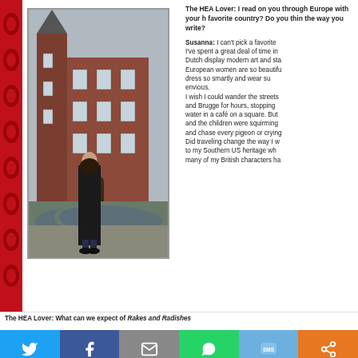[Figure (photo): Woman in black coat standing in front of a red brick European castle/manor with a moat and bridge]
The HEA Lover: I read on you through Europe with your h favorite country? Do you thin the way you write?
Susanna: I can't pick a favorite I've spent a great deal of time in Dutch display modern art and sta European women are so beautifu dress so smartly and wear su envious. I wish I could wander the streets and Brugge for hours, stopping water in a café on a square. But and the children were squirming and chase every pigeon or crying Did traveling change the way I w to my Southern US heritage wh many of my British characters ha
The HEA Lover: What can we expect of Rakes and Radishes